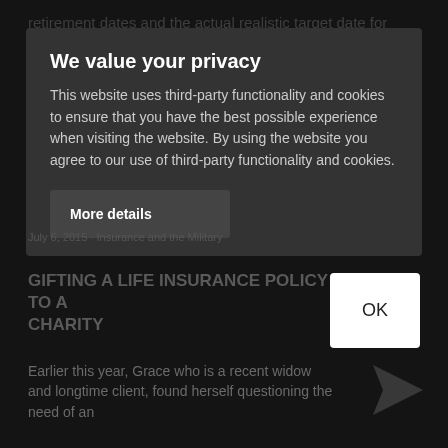retirement dates and the actual realistic target date for retirement. With retirement confidence levels remaining low these days, perhaps there are other more important questions that should garner more attention than a date of ... simple questions that s... p...
We value your privacy
This website uses third-party functionality and cookies to ensure that you have the best possible experience when visiting the website. By using the website you agree to our use of third-party functionality and cookies.
More details
OK
GIFTING A LIFE INSURANCE POLICY TO A CHARITY
Earlier this year, Grace who is a recent widow and longtime client, found herself questioning the need of an